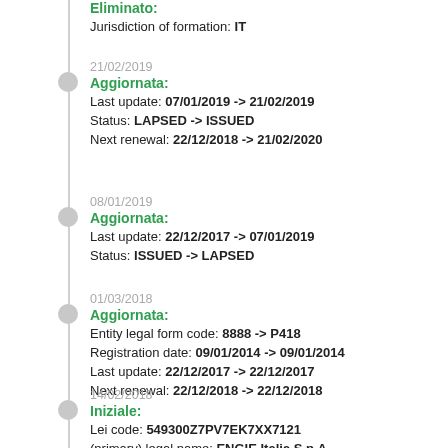Eliminato:
Jurisdiction of formation: IT
21/02/2019
Aggiornata:
Last update: 07/01/2019 -> 21/02/2019
Status: LAPSED -> ISSUED
Next renewal: 22/12/2018 -> 21/02/2020
08/01/2019
Aggiornata:
Last update: 22/12/2017 -> 07/01/2019
Status: ISSUED -> LAPSED
01/03/2018
Aggiornata:
Entity legal form code: 8888 -> P418
Registration date: 09/01/2014 -> 09/01/2014
Last update: 22/12/2017 -> 22/12/2017
Next renewal: 22/12/2018 -> 22/12/2018
14/02/2018
Iniziale:
Lei code: 549300Z7PV7EK7XX7121
(primary) legal name: ENGIE Italia S.p.A.
Other entity name: GDF SUEZ Energia Italia S.p.A
Type of other entity name: PREVIOUS_LEGAL_NAME
First legal address line: Lungotevere Amaldo Da Brescia,